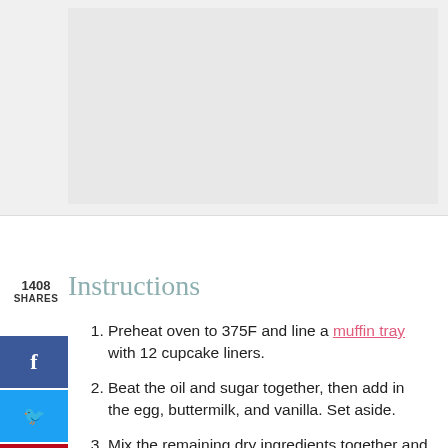[Figure (photo): Recipe image placeholder / banner area at top of page]
1408 Instructions
SHARES
Preheat oven to 375F and line a muffin tray with 12 cupcake liners.
Beat the oil and sugar together, then add in the egg, buttermilk, and vanilla. Set aside.
Mix the remaining dry ingredients together and then incorporate into the wet batter.
Portion out the batter into the lined muffin tin, filling each liner about 3/4 full.
Bake 18-22 minutes until an inserted toothpick comes out clean and the tops of the cupcakes spring back when tapped